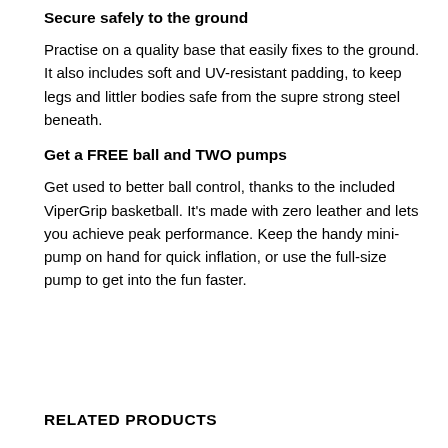Secure safely to the ground
Practise on a quality base that easily fixes to the ground. It also includes soft and UV-resistant padding, to keep legs and littler bodies safe from the supre strong steel beneath.
Get a FREE ball and TWO pumps
Get used to better ball control, thanks to the included ViperGrip basketball. It’s made with zero leather and lets you achieve peak performance. Keep the handy mini-pump on hand for quick inflation, or use the full-size pump to get into the fun faster.
RELATED PRODUCTS